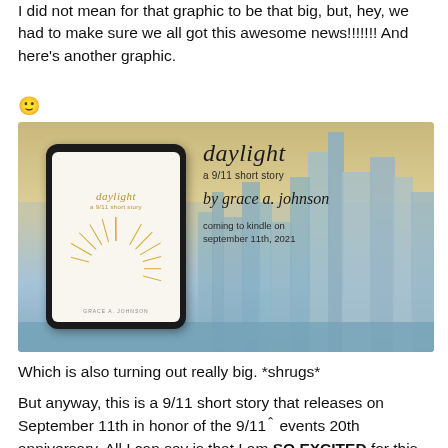I did not mean for that graphic to be that big, but, hey, we had to make sure we all got this awesome news!!!!!!! And here's another graphic.
🙂
[Figure (illustration): Book promotional graphic showing a tablet displaying the cover of 'daylight: a 9/11 short story' by Grace A. Johnson, against a NYC skyline background. Text overlay reads: daylight / a 9/11 short story / by grace a. johnson / coming to kindle on september 11th, 2021]
Which is also turning out really big. *shrugs*
But anyway, this is a 9/11 short story that releases on September 11th in honor of the 9/11 events 20th anniversary. All I can say is that I am SO EXCITED for this book's release, which once you read this blurb, you will be too!!!